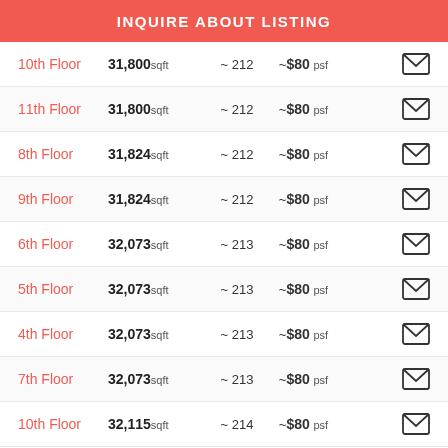INQUIRE ABOUT LISTING
| Floor | Size | Desks | Price | Action |
| --- | --- | --- | --- | --- |
| 10th Floor | 31,800 sqft | ~ 212 | ~$80 psf |  |
| 11th Floor | 31,800 sqft | ~ 212 | ~$80 psf |  |
| 8th Floor | 31,824 sqft | ~ 212 | ~$80 psf |  |
| 9th Floor | 31,824 sqft | ~ 212 | ~$80 psf |  |
| 6th Floor | 32,073 sqft | ~ 213 | ~$80 psf |  |
| 5th Floor | 32,073 sqft | ~ 213 | ~$80 psf |  |
| 4th Floor | 32,073 sqft | ~ 213 | ~$80 psf |  |
| 7th Floor | 32,073 sqft | ~ 213 | ~$80 psf |  |
| 10th Floor | 32,115 sqft | ~ 214 | ~$80 psf |  |